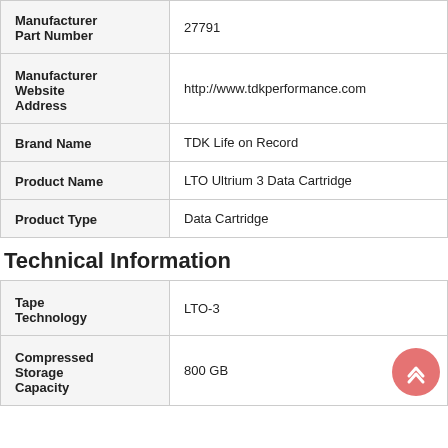| Attribute | Value |
| --- | --- |
| Manufacturer Part Number | 27791 |
| Manufacturer Website Address | http://www.tdkperformance.com |
| Brand Name | TDK Life on Record |
| Product Name | LTO Ultrium 3 Data Cartridge |
| Product Type | Data Cartridge |
Technical Information
| Attribute | Value |
| --- | --- |
| Tape Technology | LTO-3 |
| Compressed Storage Capacity | 800 GB |